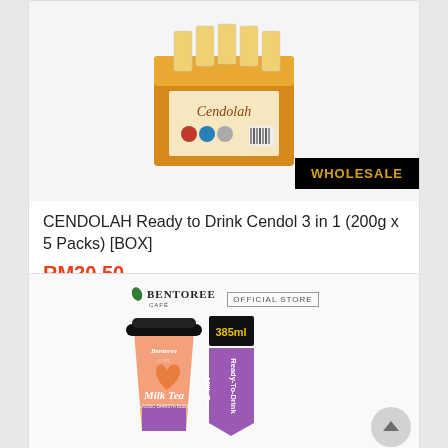[Figure (photo): Product photo of CENDOLAH Ready to Drink Cendol 3 in 1 box (200g x 5 Packs) with a WHOLESALE badge in the bottom right corner]
CENDOLAH Ready to Drink Cendol 3 in 1 (200g x 5 Packs) [BOX]
RM20.50
[Figure (photo): Product photo of Bentoree Café Milk Tea ready-to-drink cup (385ml) with product label showing Ready-To-Drink Milk Tea. Bentoree Café Official Store logo shown above the product.]